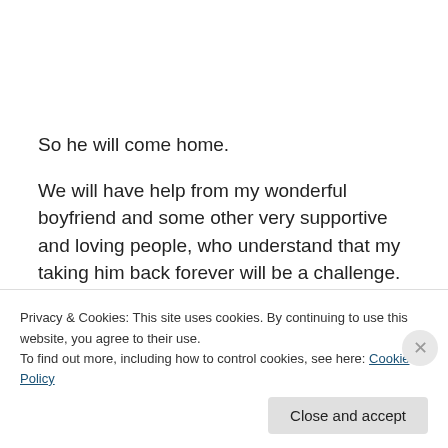So he will come home.
We will have help from my wonderful boyfriend and some other very supportive and loving people, who understand that my taking him back forever will be a challenge. I will definitely be making a list of the folks — puppy raisers, friends, family, co-workers — who have offered to watch him for me occasionally, or who have offered playdates
Privacy & Cookies: This site uses cookies. By continuing to use this website, you agree to their use.
To find out more, including how to control cookies, see here: Cookie Policy